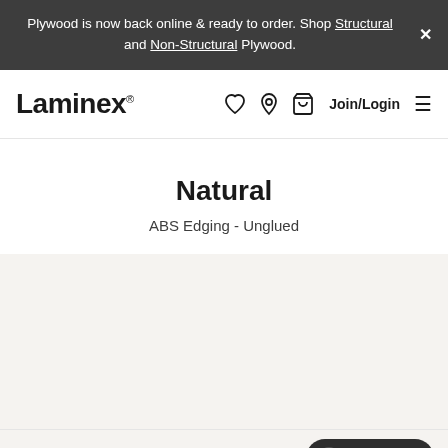Plywood is now back online & ready to order. Shop Structural and Non-Structural Plywood.
[Figure (logo): Laminex logo in navbar]
Natural
ABS Edging - Unglued
[Figure (logo): Laminex footer logo in grey]
Chat offline